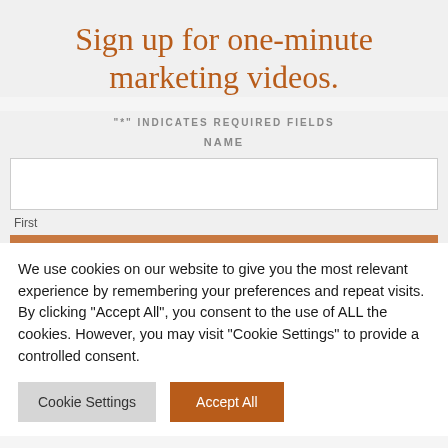Sign up for one-minute marketing videos.
"*" INDICATES REQUIRED FIELDS
NAME
First
We use cookies on our website to give you the most relevant experience by remembering your preferences and repeat visits. By clicking “Accept All”, you consent to the use of ALL the cookies. However, you may visit “Cookie Settings” to provide a controlled consent.
Cookie Settings
Accept All